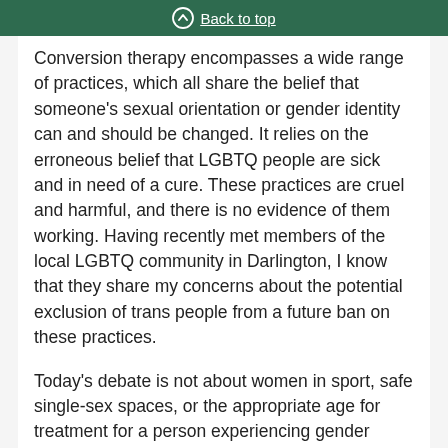Back to top
Conversion therapy encompasses a wide range of practices, which all share the belief that someone's sexual orientation or gender identity can and should be changed. It relies on the erroneous belief that LGBTQ people are sick and in need of a cure. These practices are cruel and harmful, and there is no evidence of them working. Having recently met members of the local LGBTQ community in Darlington, I know that they share my concerns about the potential exclusion of trans people from a future ban on these practices.
Today's debate is not about women in sport, safe single-sex spaces, or the appropriate age for treatment for a person experiencing gender dysphoria.